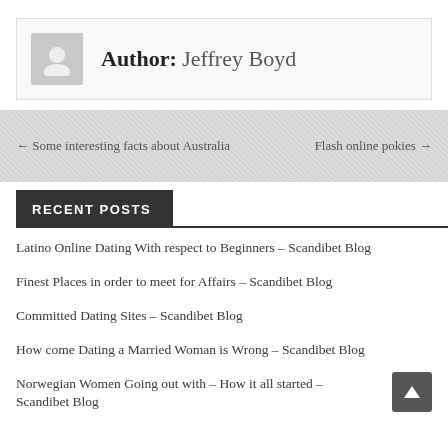Author: Jeffrey Boyd
← Some interesting facts about Australia
Flash online pokies →
RECENT POSTS
Latino Online Dating With respect to Beginners – Scandibet Blog
Finest Places in order to meet for Affairs – Scandibet Blog
Committed Dating Sites – Scandibet Blog
How come Dating a Married Woman is Wrong – Scandibet Blog
Norwegian Women Going out with – How it all started – Scandibet Blog